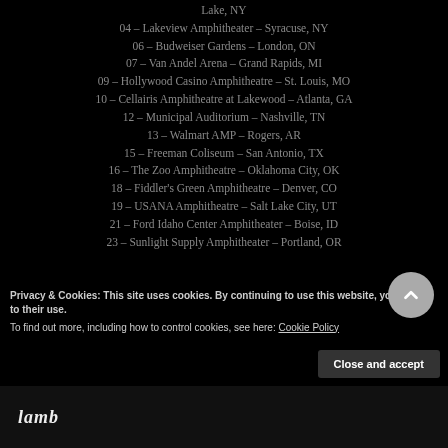Lake, NY
04 – Lakeview Amphitheater – Syracuse, NY
06 – Budweiser Gardens – London, ON
07 – Van Andel Arena – Grand Rapids, MI
09 – Hollywood Casino Amphitheatre – St. Louis, MO
10 – Cellairis Amphitheatre at Lakewood – Atlanta, GA
12 – Municipal Auditorium – Nashville, TN
13 – Walmart AMP – Rogers, AR
15 – Freeman Coliseum – San Antonio, TX
16 – The Zoo Amphitheatre – Oklahoma City, OK
18 – Fiddler's Green Amphitheatre – Denver, CO
19 – USANA Amphitheatre – Salt Lake City, UT
21 – Ford Idaho Center Amphitheater – Boise, ID
23 – Sunlight Supply Amphitheater – Portland, OR
Privacy & Cookies: This site uses cookies. By continuing to use this website, you agree to their use. To find out more, including how to control cookies, see here: Cookie Policy
Close and accept
[Figure (logo): lamb logo text in italic serif font at bottom of page]